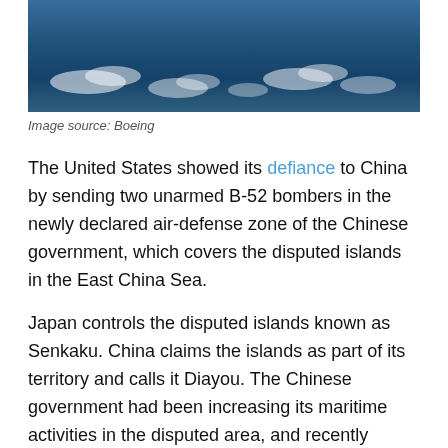[Figure (photo): Aerial photograph showing ocean with scattered clouds against a dark blue sky/sea background]
Image source: Boeing
The United States showed its defiance to China by sending two unarmed B-52 bombers in the newly declared air-defense zone of the Chinese government, which covers the disputed islands in the East China Sea.
Japan controls the disputed islands known as Senkaku. China claims the islands as part of its territory and calls it Diayou. The Chinese government had been increasing its maritime activities in the disputed area, and recently declared an air-defense identification zone effective November 23. The Chinese government announced that its military will take “defensive emergency measures” if any aircraft enters the area without notification or reporting flight plans.